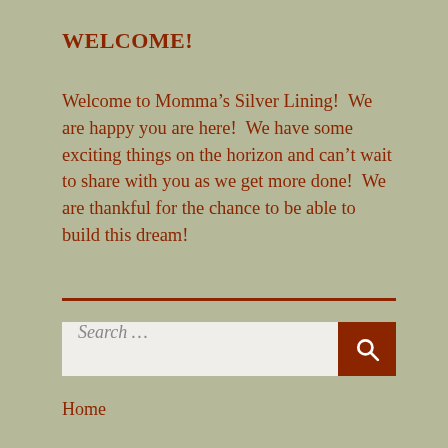WELCOME!
Welcome to Momma’s Silver Lining!  We are happy you are here!  We have some exciting things on the horizon and can’t wait to share with you as we get more done!  We are thankful for the chance to be able to build this dream!
Search …
Home